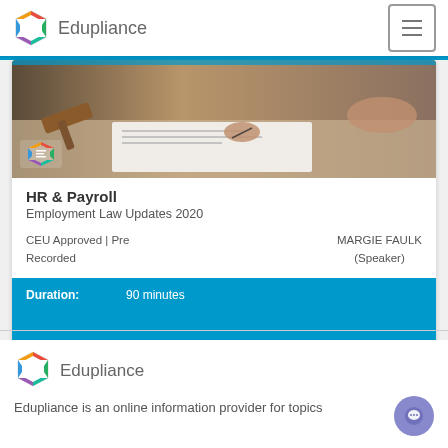Edupliance
[Figure (photo): Person signing a legal document with a gavel visible in the background; Edupliance logo overlay at bottom left]
HR & Payroll
Employment Law Updates 2020
CEU Approved | Pre Recorded
MARGIE FAULK (Speaker)
Duration: 90 minutes
[Figure (logo): Edupliance hexagon logo]
Edupliance is an online information provider for topics